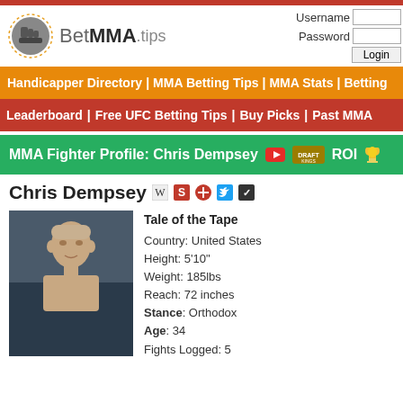[Figure (logo): BetMMA.tips logo with fist icon]
Username / Password / Login
Handicapper Directory | MMA Betting Tips | MMA Stats | Betting
Leaderboard | Free UFC Betting Tips | Buy Picks | Past MMA
MMA Fighter Profile: Chris Dempsey
Chris Dempsey
[Figure (photo): Chris Dempsey MMA fighter portrait photo]
Tale of the Tape
Country: United States
Height: 5'10"
Weight: 185lbs
Reach: 72 inches
Stance: Orthodox
Age: 34
Fights Logged: 5